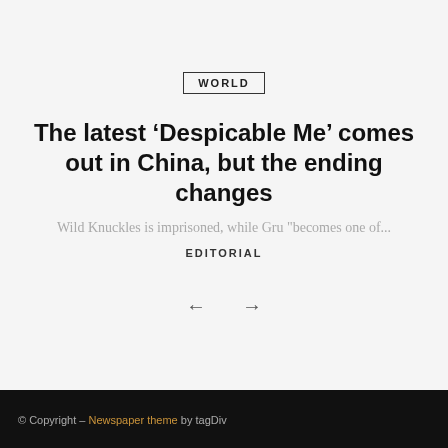WORLD
The latest ‘Despicable Me’ comes out in China, but the ending changes
Wild Knuckles is imprisoned, while Gru "becomes one of...
EDITORIAL
© Copyright – Newspaper theme by tagDiv